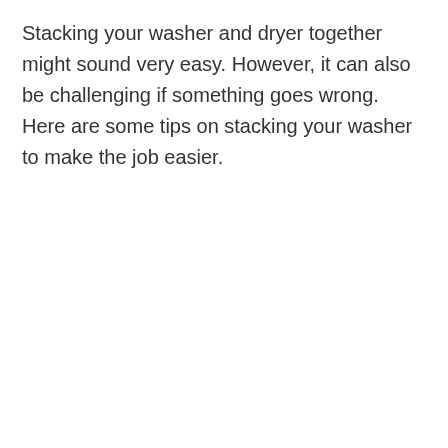Stacking your washer and dryer together might sound very easy. However, it can also be challenging if something goes wrong. Here are some tips on stacking your washer to make the job easier.